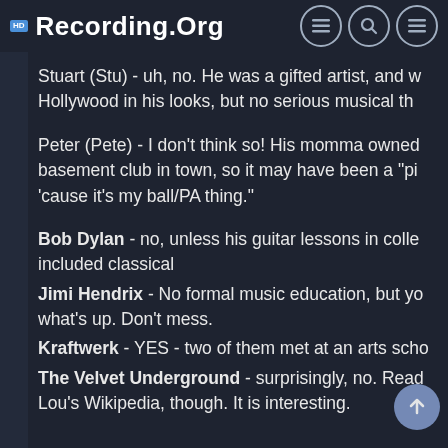Recording.org
Stuart (Stu) - uh, no. He was a gifted artist, and w Hollywood in his looks, but no serious musical th
Peter (Pete) - I don't think so! His momma owned basement club in town, so it may have been a "pi 'cause it's my ball/PA thing."
Bob Dylan - no, unless his guitar lessons in colle included classical
Jimi Hendrix - No formal music education, but yo what's up. Don't mess.
Kraftwerk - YES - two of them met at an arts scho
The Velvet Underground - surprisingly, no. Read Lou's Wikipedia, though. It is interesting.